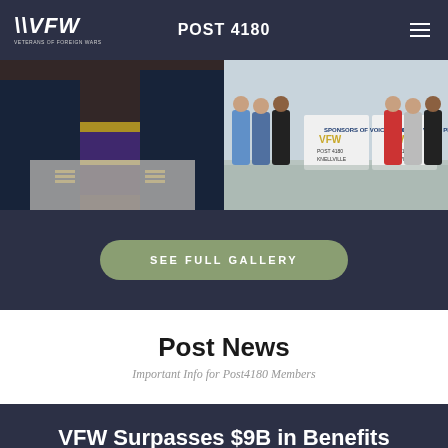VFW VETERANS OF FOREIGN WARS — POST 4180
[Figure (photo): Two people in Navy dress uniforms looking at a decorated cake at an event]
[Figure (photo): Group of men standing outdoors beside VFW Post 4180 Knellsville signs]
SEE FULL GALLERY
Post News
Important Info for Post4180 Members
VFW Surpasses $9B in Benefits for Our Veterans Nationwide